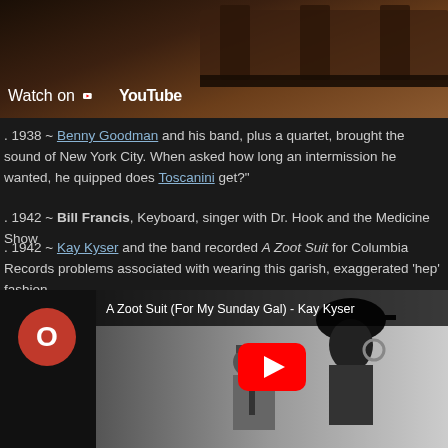[Figure (screenshot): YouTube video embed showing piano on a stage with 'Watch on YouTube' overlay text and logo]
. 1938 ~ Benny Goodman and his band, plus a quartet, brought the sound of New York City. When asked how long an intermission he wanted, he quipped does Toscanini get?"
. 1942 ~ Bill Francis, Keyboard, singer with Dr. Hook and the Medicine Show
. 1942 ~ Kay Kyser and the band recorded A Zoot Suit for Columbia Records problems associated with wearing this garish, exaggerated 'hep' fashion.
[Figure (screenshot): YouTube video thumbnail for 'A Zoot Suit (For My Sunday Gal) - Kay Kyser' showing a black and white art deco illustration of a woman in a zoot suit hat and a man in suit with a hat, with YouTube play button overlay]